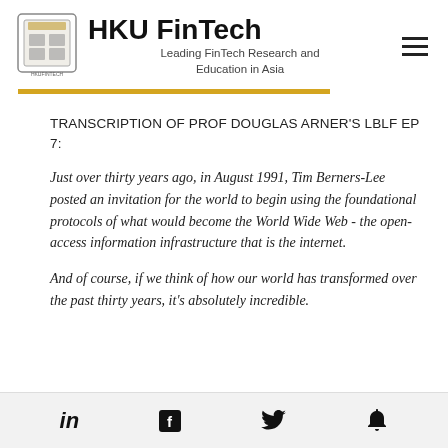HKU FinTech — Leading FinTech Research and Education in Asia
TRANSCRIPTION OF PROF DOUGLAS ARNER'S LBLF EP 7:
Just over thirty years ago, in August 1991, Tim Berners-Lee posted an invitation for the world to begin using the foundational protocols of what would become the World Wide Web - the open-access information infrastructure that is the internet.
And of course, if we think of how our world has transformed over the past thirty years, it's absolutely incredible.
Social media icons: LinkedIn, Facebook, Twitter, Notification bell